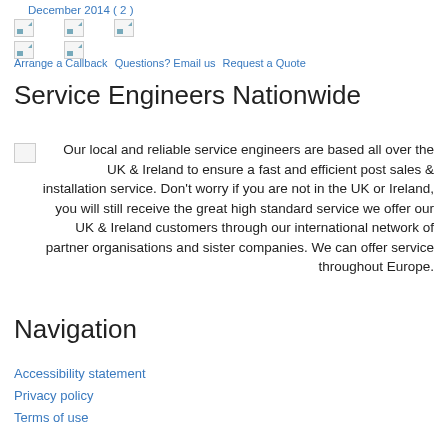December 2014 ( 2 )
[Figure (infographic): Row of broken/placeholder images representing action icons: Arrange a Callback, Questions? Email us, Request a Quote]
Arrange a Callback Questions? Email us Request a Quote
Service Engineers Nationwide
Our local and reliable service engineers are based all over the UK & Ireland to ensure a fast and efficient post sales & installation service. Don't worry if you are not in the UK or Ireland, you will still receive the great high standard service we offer our UK & Ireland customers through our international network of partner organisations and sister companies. We can offer service throughout Europe.
Navigation
Accessibility statement
Privacy policy
Terms of use